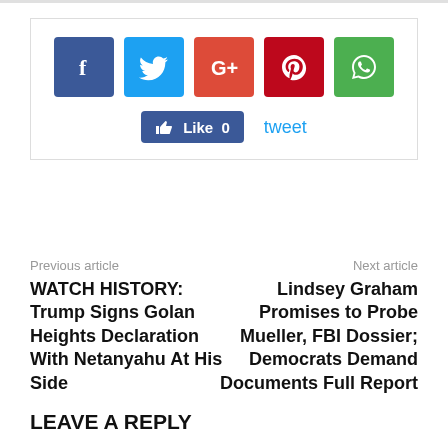[Figure (infographic): Social share buttons: Facebook (blue), Twitter (light blue), Google+ (orange-red), Pinterest (dark red), WhatsApp (green). Below: a Facebook Like button showing 0 likes, and a tweet link.]
Previous article
Next article
WATCH HISTORY: Trump Signs Golan Heights Declaration With Netanyahu At His Side
Lindsey Graham Promises to Probe Mueller, FBI Dossier; Democrats Demand Documents Full Report
LEAVE A REPLY